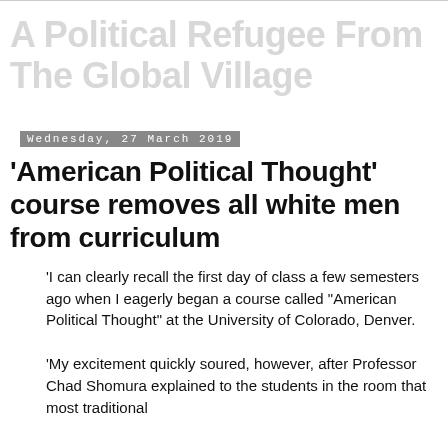A Political Refugee From The Global Village
Wednesday, 27 March 2019
'American Political Thought' course removes all white men from curriculum
'I can clearly recall the first day of class a few semesters ago when I eagerly began a course called “American Political Thought” at the University of Colorado, Denver.
'My excitement quickly soured, however, after Professor Chad Shomura explained to the students in the room that most traditional